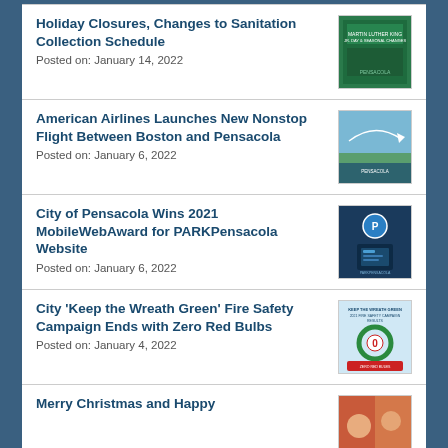Holiday Closures, Changes to Sanitation Collection Schedule
Posted on: January 14, 2022
American Airlines Launches New Nonstop Flight Between Boston and Pensacola
Posted on: January 6, 2022
City of Pensacola Wins 2021 MobileWebAward for PARKPensacola Website
Posted on: January 6, 2022
City 'Keep the Wreath Green' Fire Safety Campaign Ends with Zero Red Bulbs
Posted on: January 4, 2022
Merry Christmas and Happy